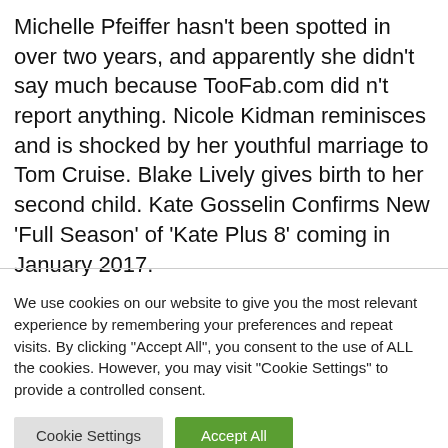Michelle Pfeiffer hasn't been spotted in over two years, and apparently she didn't say much because TooFab.com did n't report anything. Nicole Kidman reminisces and is shocked by her youthful marriage to Tom Cruise. Blake Lively gives birth to her second child. Kate Gosselin Confirms New 'Full Season' of 'Kate Plus 8' coming in January 2017.
We use cookies on our website to give you the most relevant experience by remembering your preferences and repeat visits. By clicking "Accept All", you consent to the use of ALL the cookies. However, you may visit "Cookie Settings" to provide a controlled consent.